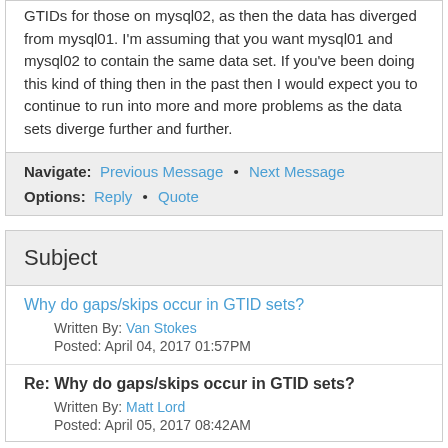GTIDs for those on mysql02, as then the data has diverged from mysql01. I'm assuming that you want mysql01 and mysql02 to contain the same data set. If you've been doing this kind of thing then in the past then I would expect you to continue to run into more and more problems as the data sets diverge further and further.
Navigate: Previous Message • Next Message
Options: Reply • Quote
Subject
Why do gaps/skips occur in GTID sets?
Written By: Van Stokes
Posted: April 04, 2017 01:57PM
Re: Why do gaps/skips occur in GTID sets?
Written By: Matt Lord
Posted: April 05, 2017 08:42AM